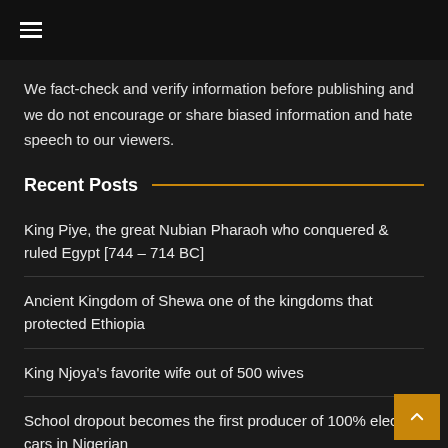≡ (hamburger menu icon)
We fact-check and verify information before publishing and we do not encourage or share biased information and hate speech to our viewers.
Recent Posts
King Piye, the great Nubian Pharaoh who conquered & ruled Egypt [744 – 714 BC]
Ancient Kingdom of Shewa one of the kingdoms that protected Ethiopia
King Njoya's favorite wife out of 500 wives
School dropout becomes the first producer of 100% electric cars in Nigerian